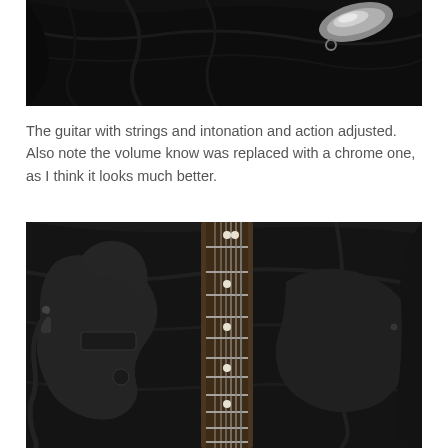[Figure (photo): Close-up photo of a dark/black guitar headstock area with a chrome knob visible against a black leather background]
The guitar with strings and intonation and action adjusted. Also note the volume know was replaced with a chrome one, as I think it looks much better.
[Figure (photo): Photo of a black electric guitar body and neck with fretboard showing white dot inlays, resting on black leather, with a cable plugged in]